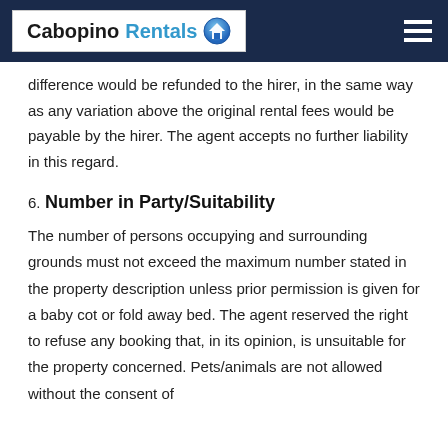Cabopino Rentals
difference would be refunded to the hirer, in the same way as any variation above the original rental fees would be payable by the hirer. The agent accepts no further liability in this regard.
6. Number in Party/Suitability
The number of persons occupying and surrounding grounds must not exceed the maximum number stated in the property description unless prior permission is given for a baby cot or fold away bed. The agent reserved the right to refuse any booking that, in its opinion, is unsuitable for the property concerned. Pets/animals are not allowed without the consent of